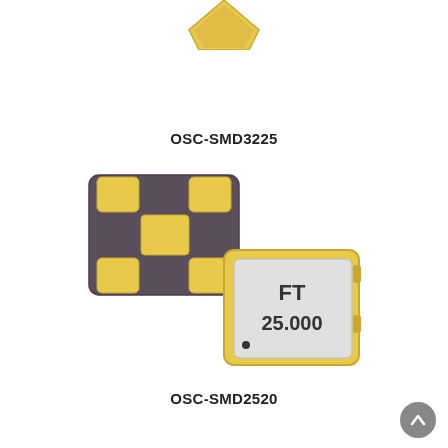[Figure (photo): Partial view of an OSC-SMD3225 oscillator component (yellow/gold colored SMD package), shown at top of page, partially cropped]
OSC-SMD3225
[Figure (photo): Two SMD oscillator components: left shows a dark brown/gray SMD package with 4 gold pads (top view, no label), right shows a gold-framed SMD oscillator with white/silver top labeled 'FT 25.000' with a small dot in the lower-left corner (bottom view). These represent the OSC-SMD2520 components.]
OSC-SMD2520